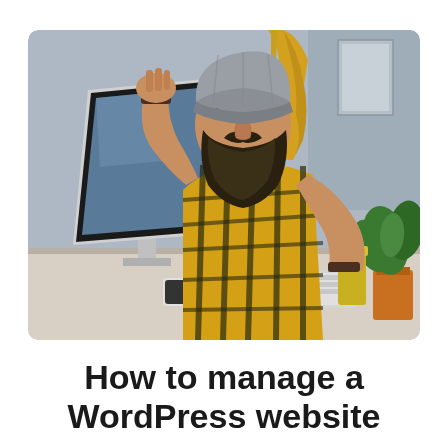[Figure (photo): A bearded man wearing a grey beanie and yellow plaid shirt sits at a desk in front of an iMac computer, holding his hand to his face in a stressed or frustrated pose. A keyboard is in front of him, a smartphone and plant visible on the desk.]
How to manage a WordPress website